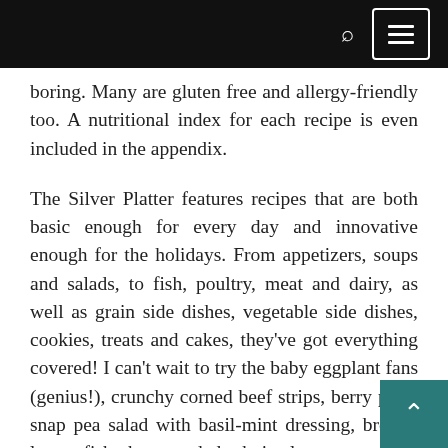boring. Many are gluten free and allergy-friendly too. A nutritional index for each recipe is even included in the appendix.
The Silver Platter features recipes that are both basic enough for every day and innovative enough for the holidays. From appetizers, soups and salads, to fish, poultry, meat and dairy, as well as grain side dishes, vegetable side dishes, cookies, treats and cakes, they've got everything covered! I can't wait to try the baby eggplant fans (genius!), crunchy corned beef strips, berry plum snap pea salad with basil-mint dressing, broiled lemon fish, three-seeded schnitzel,